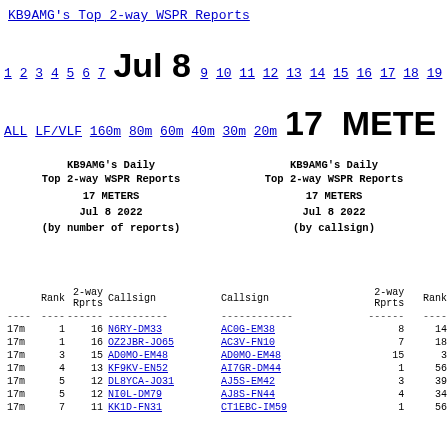KB9AMG's Top 2-way WSPR Reports
1 2 3 4 5 6 7  Jul 8  9 10 11 12 13 14 15 16 17 18 19
ALL LF/VLF 160m 80m 60m 40m 30m 20m  17 METE
KB9AMG's Daily Top 2-way WSPR Reports 17 METERS Jul 8 2022 (by number of reports)
KB9AMG's Daily Top 2-way WSPR Reports 17 METERS Jul 8 2022 (by callsign)
|  | Rank | 2-way Rprts | Callsign |
| --- | --- | --- | --- |
| 17m | 1 | 16 | N6RY-DM33 |
| 17m | 1 | 16 | OZ2JBR-JO65 |
| 17m | 3 | 15 | AD0MO-EM48 |
| 17m | 4 | 13 | KF9KV-EN52 |
| 17m | 5 | 12 | DL8YCA-JO31 |
| 17m | 5 | 12 | NI0L-DM79 |
| 17m | 7 | 11 | KK1D-FN31 |
| Callsign | 2-way Rprts | Rank |
| --- | --- | --- |
| AC0G-EM38 | 8 | 14 |
| AC3V-FN10 | 7 | 18 |
| AD0MO-EM48 | 15 | 3 |
| AI7GR-DM44 | 1 | 56 |
| AJ5S-EM42 | 3 | 39 |
| AJ8S-FN44 | 4 | 34 |
| CT1EBC-IM59 | 1 | 56 |